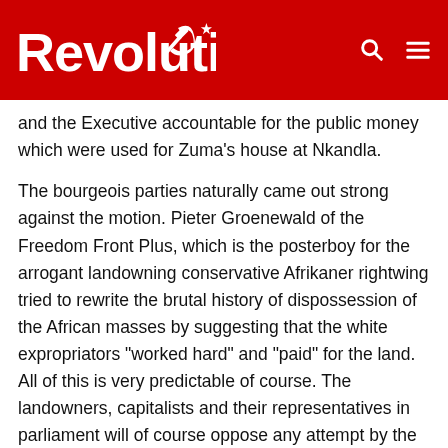Revolution
and the Executive accountable for the public money which were used for Zuma's house at Nkandla.
The bourgeois parties naturally came out strong against the motion. Pieter Groenewald of the Freedom Front Plus, which is the posterboy for the arrogant landowning conservative Afrikaner rightwing tried to rewrite the brutal history of dispossession of the African masses by suggesting that the white expropriators “worked hard” and “paid” for the land. All of this is very predictable of course. The landowners, capitalists and their representatives in parliament will of course oppose any attempt by the oppressed to change society.
Embed from Getty Images
[Figure (photo): A bald man seated, viewed from behind, at what appears to be a parliamentary or formal meeting setting with dark wooden furniture.]